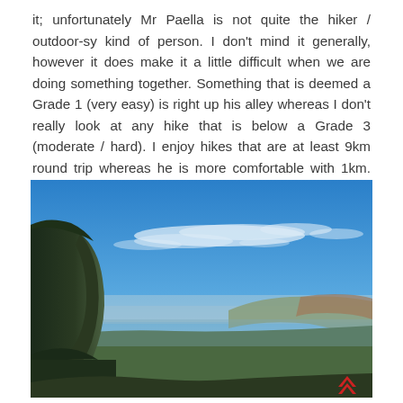it; unfortunately Mr Paella is not quite the hiker / outdoor-sy kind of person. I don't mind it generally, however it does make it a little difficult when we are doing something together. Something that is deemed a Grade 1 (very easy) is right up his alley whereas I don't really look at any hike that is below a Grade 3 (moderate / hard). I enjoy hikes that are at least 9km round trip whereas he is more comfortable with 1km. For Wentworth Falls, we were just going to walk to the bottom and then back up the death stairs.
[Figure (photo): Landscape photo of a mountain valley with blue sky and wispy white clouds above, steep forested cliff on the left side, and a broad valley with layered mountain ridges receding into the hazy distance on the right. A small red logo appears in the lower right corner.]